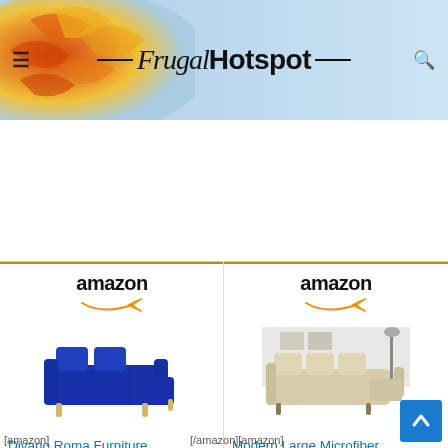Frugal Hotspot
[Figure (screenshot): White space / ad area below header]
[Figure (logo): Amazon logo with orange swoosh arrow - left product]
[Figure (photo): Blue sectional sofa on white background - Divano Roma Furniture product image]
Divano Roma Furniture...
[Figure (logo): Amazon logo with orange swoosh arrow - right product]
[Figure (photo): Beige/cream large sectional sofa in styled room - Modern Large Microfiber product image]
Modern Large Microfiber...
[amazon]
[/amazon][amazon]